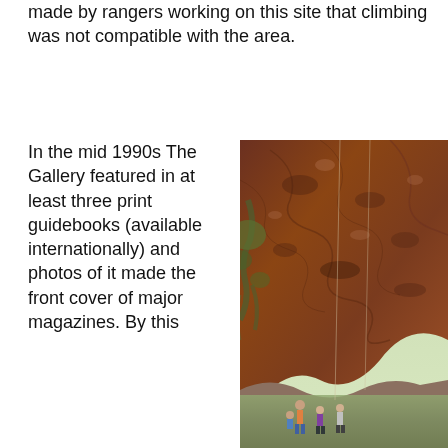made by rangers working on this site that climbing was not compatible with the area.
In the mid 1990s The Gallery featured in at least three print guidebooks (available internationally) and photos of it made the front cover of major magazines. By this
[Figure (photo): A large overhanging reddish-brown rock face with textured surface, photographed from below at an angle. Trees and foliage visible to the left side. Several people (climbers and spectators) visible at the base of the cliff in the lower portion of the image.]